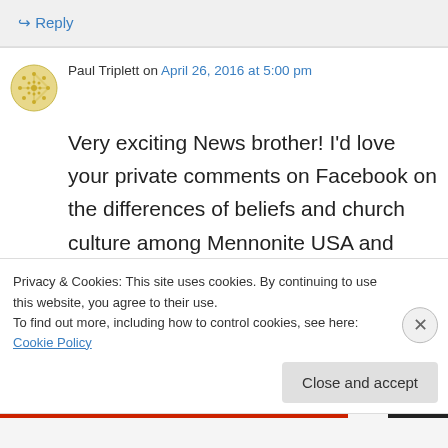↳ Reply
Paul Triplett on April 26, 2016 at 5:00 pm
Very exciting News brother! I'd love your private comments on Facebook on the differences of beliefs and church culture among Mennonite USA and Brethren In Christ (BIC). I am currently pastoring in a Mennonite Brethren congregation. I figure after your current pastorate you'd have
Privacy & Cookies: This site uses cookies. By continuing to use this website, you agree to their use.
To find out more, including how to control cookies, see here: Cookie Policy
Close and accept